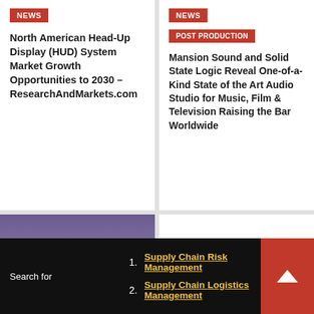NEWS
North American Head-Up Display (HUD) System Market Growth Opportunities to 2030 – ResearchAndMarkets.com
NEWS
POST PRODUCTION
Mansion Sound and Solid State Logic Reveal One-of-a-Kind State of the Art Audio Studio for Music, Film & Television Raising the Bar Worldwide
[Figure (photo): Baseball stadium at dusk with field and crowd visible]
[Figure (logo): WWE logo — bold stylized W in black on white background]
Search for
1. Supply Chain Risk Management
2. Supply Chain Logistics Management